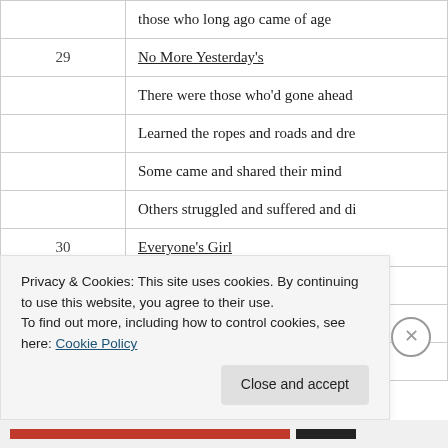| # | Content |
| --- | --- |
|  | those who long ago came of age |
| 29 | No More Yesterday's |
|  | There were those who'd gone ahead |
|  | Learned the ropes and roads and dre |
|  | Some came and shared their mind |
|  | Others struggled and suffered and di |
| 30 | Everyone's Girl |
|  | Her days don't begin before three |
|  | Her nights spent in party grove |
|  | Never seen the sun go down |
Privacy & Cookies: This site uses cookies. By continuing to use this website, you agree to their use. To find out more, including how to control cookies, see here: Cookie Policy
Close and accept